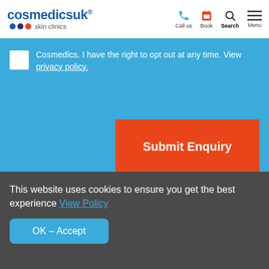cosmedics uk® skin clinics | Call us | Book | Search | Menu
Cosmedics. I have the right to opt out at any time. View privacy policy.
Submit Enquiry
This website uses cookies to ensure you get the best experience View Policy
OK – Accept